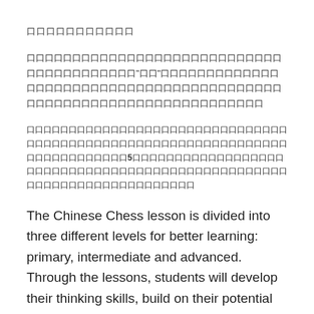口口口口口口口口口口口
口口口口口口口口口口口口口口口口口口口口口口口口口口口口口口口口口口口口口口口口“口口”口口口口口口口口口口口口口口口口口口口口口口口口口口口口口口口口口口口口口口口口口口口口口口口口口口口口口口口口口口口口口
口口口口口口口口口口口口口口口口口口口口口口口口口口口口口口口口口口口口口口口口口口口口口口口口口口口口口口口口口口口口口口口口口口口口口口口口口口5口口口口口口口口口口口口口口口口口口口口口口口口口口口口口口口口口口口口口口口口口口口口口口口口口口口口口口口口口口口口口口
The Chinese Chess lesson is divided into three different levels for better learning: primary, intermediate and advanced. Through the lessons, students will develop their thinking skills, build on their potential and confidence.
Chinese chess can also be known as the “brain